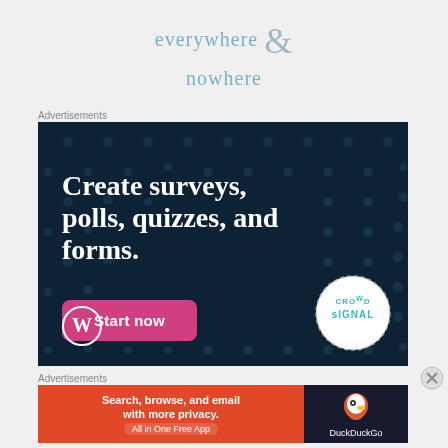everywhere & nowhere
Advertisements
[Figure (screenshot): Crowdsignal advertisement on dark navy background with polka dots pattern. Text: Create surveys, polls, quizzes, and forms. Pink button: Start now. WordPress logo bottom left. Crowdsignal badge bottom right.]
Advertisements
[Figure (screenshot): DuckDuckGo advertisement. Left: orange background with text 'Search, browse, and email with more privacy. All in One Free App'. Right: dark background with DuckDuckGo duck logo and 'DuckDuckGo' text.]